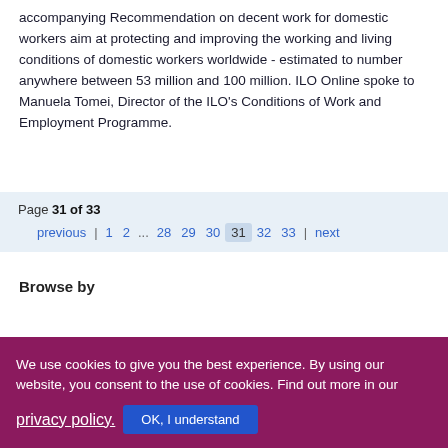accompanying Recommendation on decent work for domestic workers aim at protecting and improving the working and living conditions of domestic workers worldwide - estimated to number anywhere between 53 million and 100 million. ILO Online spoke to Manuela Tomei, Director of the ILO's Conditions of Work and Employment Programme.
Page 31 of 33
previous | 1 2 ... 28 29 30 31 32 33 | next
Browse by
We use cookies to give you the best experience. By using our website, you consent to the use of cookies. Find out more in our privacy policy.
OK, I understand